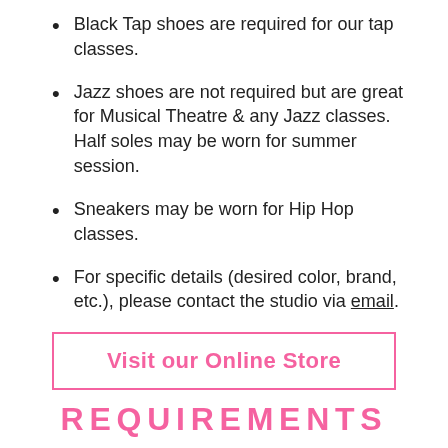Black Tap shoes are required for our tap classes.
Jazz shoes are not required but are great for Musical Theatre & any Jazz classes. Half soles may be worn for summer session.
Sneakers may be worn for Hip Hop classes.
For specific details (desired color, brand, etc.), please contact the studio via email.
Visit our Online Store
REQUIREMENTS